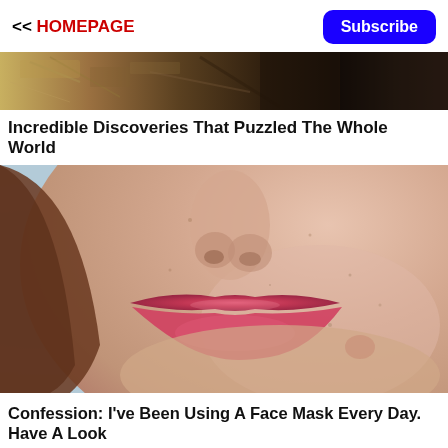<< HOMEPAGE  Subscribe
[Figure (photo): Aerial/overhead photo of ruins or debris, brown and dark tones]
Incredible Discoveries That Puzzled The Whole World
[Figure (photo): Close-up photo of a woman's lower face showing nose and lips with pink/red lipstick]
Confession: I've Been Using A Face Mask Every Day. Have A Look
mgid ▶